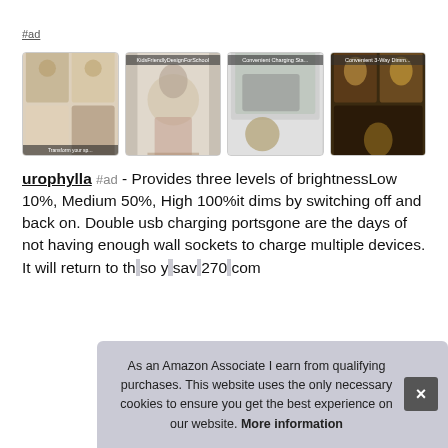#ad
[Figure (photo): Four product images of desk lamps with gold/brass finish]
urophylla #ad - Provides three levels of brightnessLow 10%, Medium 50%, High 100%it dims by switching off and back on. Double usb charging portsgone are the days of not having enough wall sockets to charge multiple devices. It will return to th[e...] so y[ou can...] sav[ing...] 270[...] com[plete...]
As an Amazon Associate I earn from qualifying purchases. This website uses the only necessary cookies to ensure you get the best experience on our website. More information